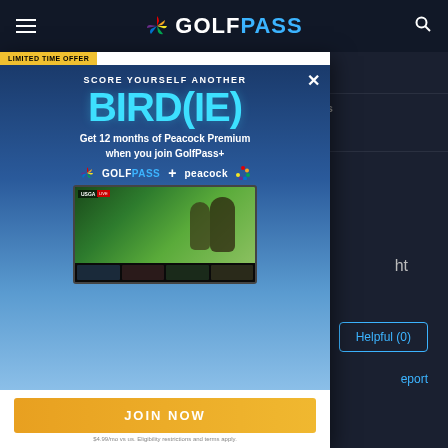GOLFPASS
| Average | Good |
| Layout | Friendliness |
| Good | Good |
| Pace | Amenities |
[Figure (screenshot): GolfPass promotional modal overlay with 'LIMITED TIME OFFER' badge. Text reads 'SCORE YOURSELF ANOTHER BIRD(IE) - Get 12 months of Peacock Premium when you join GolfPass+'. Shows GolfPass + Peacock logos and a TV screen with USGA golf content. JOIN NOW orange button at bottom. Small fine print at bottom.]